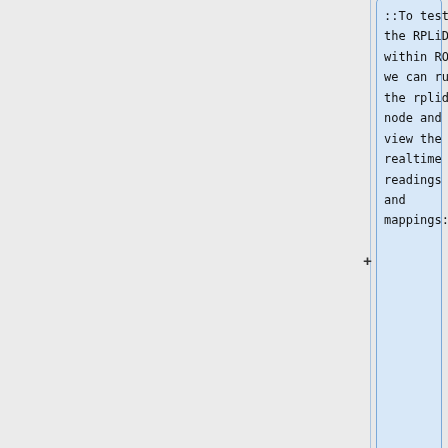::To test the RPLiDAR within ROS, we can run the rplidar node and view the realtime readings and mappings:
:::<code>roslaunch rplidar_ros view_rplidar.launch</code><span style="color:blue">#running the